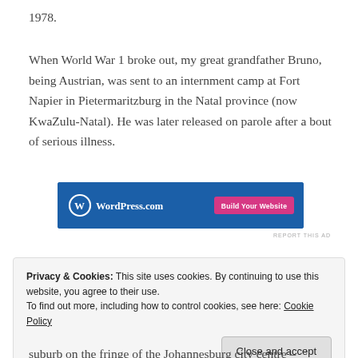1978.
When World War 1 broke out, my great grandfather Bruno, being Austrian, was sent to an internment camp at Fort Napier in Pietermaritzburg in the Natal province (now KwaZulu-Natal). He was later released on parole after a bout of serious illness.
[Figure (other): WordPress.com advertisement banner with blue background, WordPress logo on left and pink 'Build Your Website' button on right.]
He then fled to Lourenço Marques (now Maputo,
Privacy & Cookies: This site uses cookies. By continuing to use this website, you agree to their use. To find out more, including how to control cookies, see here: Cookie Policy
Close and accept
suburb on the fringe of the Johannesburg city centre –